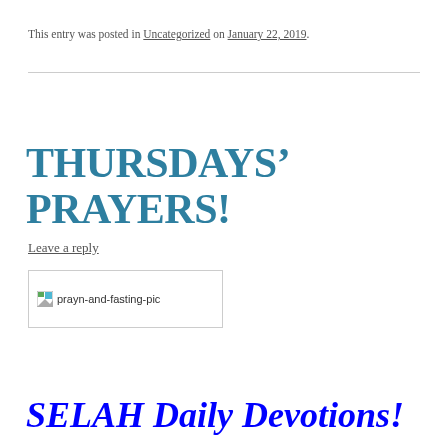This entry was posted in Uncategorized on January 22, 2019.
THURSDAYS’ PRAYERS!
Leave a reply
[Figure (photo): Broken image placeholder labeled 'prayn-and-fasting-pic']
SELAH Daily Devotions!